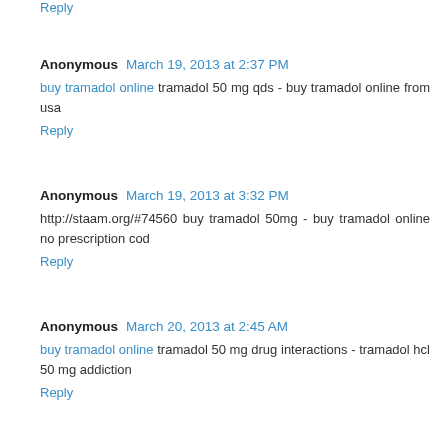Reply
Anonymous  March 19, 2013 at 2:37 PM
buy tramadol online tramadol 50 mg qds - buy tramadol online from usa
Reply
Anonymous  March 19, 2013 at 3:32 PM
http://staam.org/#74560 buy tramadol 50mg - buy tramadol online no prescription cod
Reply
Anonymous  March 20, 2013 at 2:45 AM
buy tramadol online tramadol 50 mg drug interactions - tramadol hcl 50 mg addiction
Reply